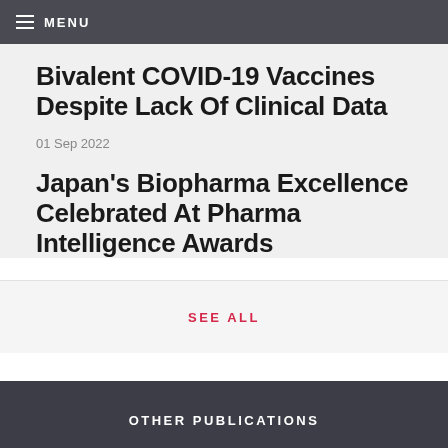MENU
Bivalent COVID-19 Vaccines Despite Lack Of Clinical Data
01 Sep 2022
Japan's Biopharma Excellence Celebrated At Pharma Intelligence Awards
SEE ALL
OTHER PUBLICATIONS
Generics Bulletin